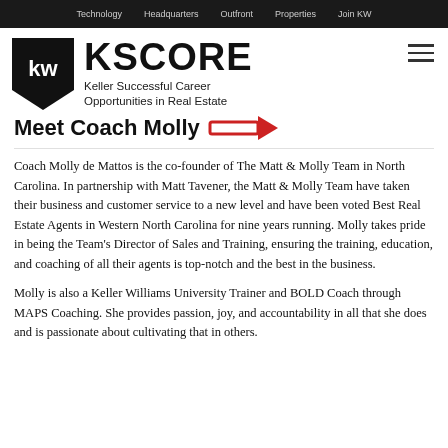Technology   Headquarters   Outfront   Properties   Join KW
[Figure (logo): KW (Keller Williams) black shield logo with 'kw' text in white, followed by KSCORE heading and tagline 'Keller Successful Career Opportunities in Real Estate']
Meet Coach Molly
Coach Molly de Mattos is the co-founder of The Matt & Molly Team in North Carolina. In partnership with Matt Tavener, the Matt & Molly Team have taken their business and customer service to a new level and have been voted Best Real Estate Agents in Western North Carolina for nine years running. Molly takes pride in being the Team's Director of Sales and Training, ensuring the training, education, and coaching of all their agents is top-notch and the best in the business.
Molly is also a Keller Williams University Trainer and BOLD Coach through MAPS Coaching. She provides passion, joy, and accountability in all that she does and is passionate about cultivating that in others.